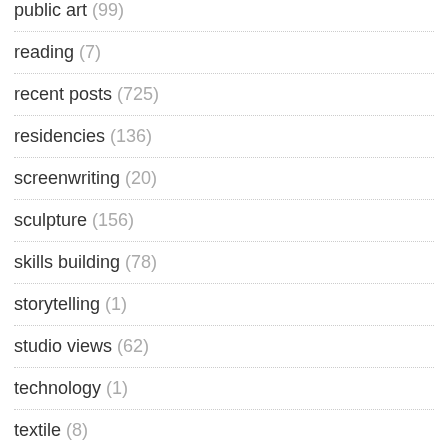public art (99)
reading (7)
recent posts (725)
residencies (136)
screenwriting (20)
sculpture (156)
skills building (78)
storytelling (1)
studio views (62)
technology (1)
textile (8)
theater (181)